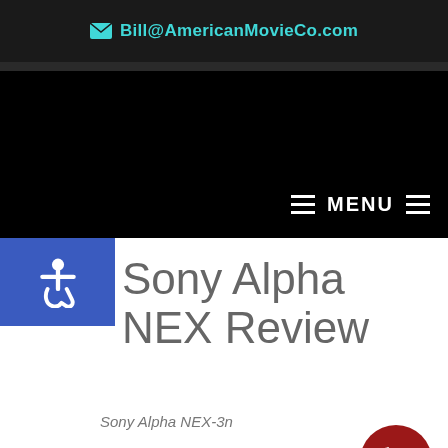✉ Bill@AmericanMovieCo.com
[Figure (screenshot): Navigation bar with MENU label and hamburger icons on dark background]
Sony Alpha NEX Review
Sony Alpha NEX-3n
[Figure (illustration): Red circular phone/call button floating in bottom right corner]